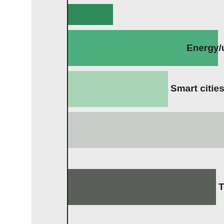[Figure (bar-chart): Horizontal bar chart showing year-on-year growth in Verizon IoT by sector. Bars include a dark green bar at top, a medium green bar labeled Energy/utilities, a light green bar labeled Smart cities/communities, a light grey bar, and a dark grey bar labeled Transportation/c.]
Figure 1: Year-on-year growth in Verizon IoT
Accenture estimates the IIoT could add $14.2T market for Industrial Internet of Things (IIoT) CAGR through 2020. Source: Pete Wassell (Aug Industrial IoT